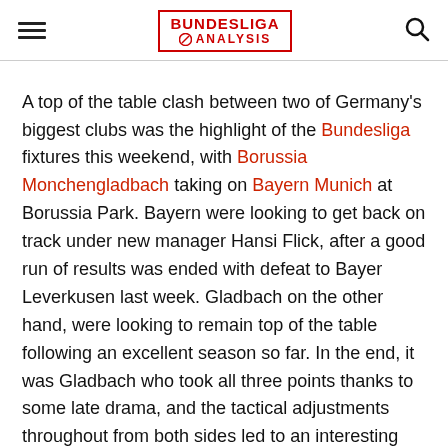BUNDESLIGA ANALYSIS
A top of the table clash between two of Germany's biggest clubs was the highlight of the Bundesliga fixtures this weekend, with Borussia Monchengladbach taking on Bayern Munich at Borussia Park. Bayern were looking to get back on track under new manager Hansi Flick, after a good run of results was ended with defeat to Bayer Leverkusen last week. Gladbach on the other hand, were looking to remain top of the table following an excellent season so far. In the end, it was Gladbach who took all three points thanks to some late drama, and the tactical adjustments throughout from both sides led to an interesting match. In this tactical analysis, I will look at these tactical adjustments from both sides, and explain how Bayern's first-half dominance was